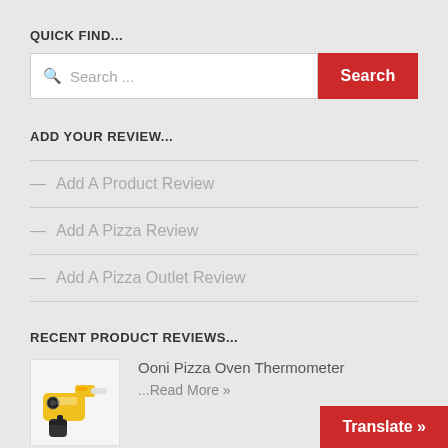QUICK FIND...
Search ...
ADD YOUR REVIEW...
— Add A Product Review
— Add A Pizza Review
— Add A Pizza Outlet Review
RECENT PRODUCT REVIEWS...
Ooni Pizza Oven Thermometer
...Read More »